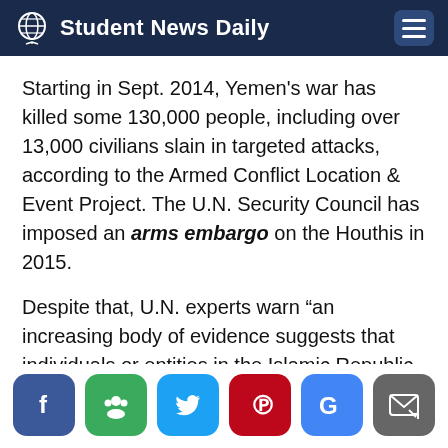Student News Daily
Starting in Sept. 2014, Yemen’s war has killed some 130,000 people, including over 13,000 civilians slain in targeted attacks, according to the Armed Conflict Location & Event Project. The U.N. Security Council has imposed an arms embargo on the Houthis in 2015.
Despite that, U.N. experts warn “an increasing body of evidence suggests that individuals or entities in the Islamic Republic of Iran supply significant volumes of weapons and components to the Houthis."